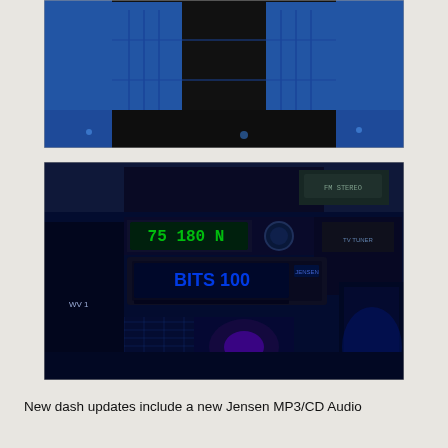[Figure (photo): Interior photo showing blue and black upholstered rear bench seat of a customized vehicle, with blue side panels and door trim visible.]
[Figure (photo): Dashboard photo of customized vehicle interior showing blue LED lighting, a Jensen MP3/CD audio unit installed in the dash, radar detector, and checker-plate floor mats with blue illumination.]
New dash updates include a new Jensen MP3/CD Audio